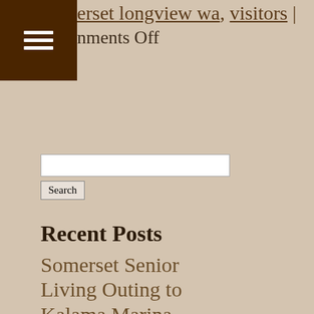erset longview wa, visitors | nments Off
[Figure (other): Hamburger menu icon with three white horizontal lines on dark brown background]
Search
Recent Posts
Somerset Senior Living Outing to Kalama Marina
Somerset Trip/Outing to McMenamins